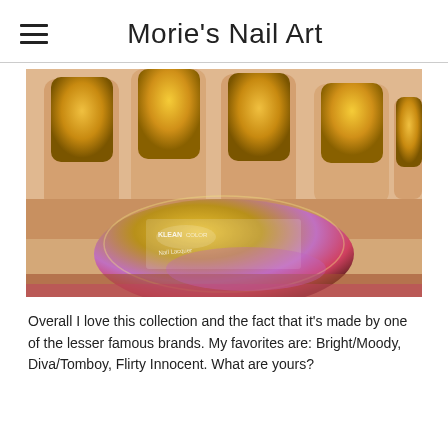Morie's Nail Art
[Figure (photo): Close-up photo of a hand holding a gold/metallic nail polish bottle (Kleancolor brand), showing four fingers with gold metallic nail polish applied. The bottle reflects purple and gold hues.]
Overall I love this collection and the fact that it's made by one of the lesser famous brands. My favorites are: Bright/Moody, Diva/Tomboy, Flirty Innocent. What are yours?